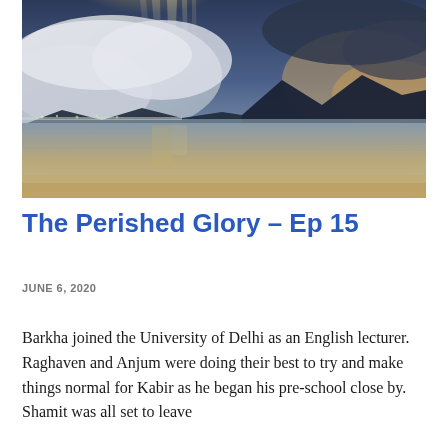[Figure (photo): Landscape photograph of a dramatic seascape or lake scene with mountains in the background, stormy sky with rays of light breaking through dark clouds, and shallow reflective water or salt flat in the foreground with warm golden and blue tones.]
The Perished Glory – Ep 15
JUNE 6, 2020
Barkha joined the University of Delhi as an English lecturer. Raghaven and Anjum were doing their best to try and make things normal for Kabir as he began his pre-school close by. Shamit was all set to leave